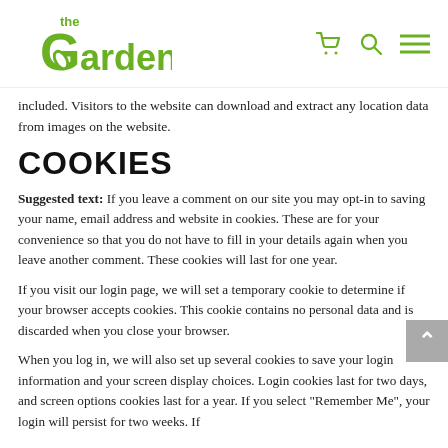the Gardens [logo with cart, search, menu icons]
included. Visitors to the website can download and extract any location data from images on the website.
COOKIES
Suggested text: If you leave a comment on our site you may opt-in to saving your name, email address and website in cookies. These are for your convenience so that you do not have to fill in your details again when you leave another comment. These cookies will last for one year.
If you visit our login page, we will set a temporary cookie to determine if your browser accepts cookies. This cookie contains no personal data and is discarded when you close your browser.
When you log in, we will also set up several cookies to save your login information and your screen display choices. Login cookies last for two days, and screen options cookies last for a year. If you select "Remember Me", your login will persist for two weeks. If